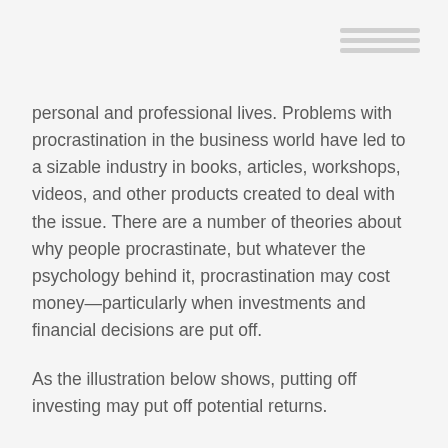personal and professional lives. Problems with procrastination in the business world have led to a sizable industry in books, articles, workshops, videos, and other products created to deal with the issue. There are a number of theories about why people procrastinate, but whatever the psychology behind it, procrastination may cost money—particularly when investments and financial decisions are put off.
As the illustration below shows, putting off investing may put off potential returns.
If you have been meaning to get around to addressing some part of your financial future, maybe it's time to develop a strategy. Don't let procrastination keep you from pursuing your financial goals.